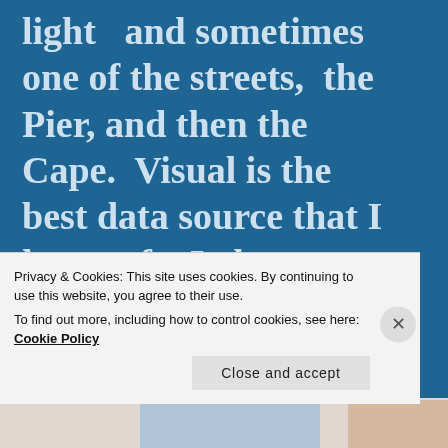light   and sometimes one of the streets,  the Pier, and then the Cape.   Visual is the best data source that I know of.    I also try to take pictures of Satellite Beach and
Privacy & Cookies: This site uses cookies. By continuing to use this website, you agree to their use.
To find out more, including how to control cookies, see here: Cookie Policy
Close and accept